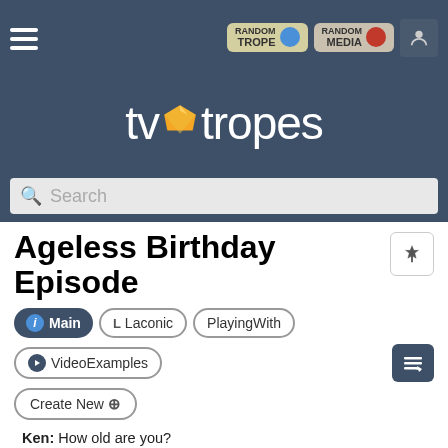[Figure (screenshot): TV Tropes website header with hamburger menu, Random Trope button, Random Media button, user icon, logo 'tvtropes' with gem icon, and search bar]
Ageless Birthday Episode
Main  Laconic  PlayingWith  VideoExamples  Create New
Ken: How old are you?
Barbie: Today, I'm officially —(gets drowned out by the vacuum)
— Barbie: Life in the Dreamhouse
A staple in most children's cartoons and kid-friendly sitcoms